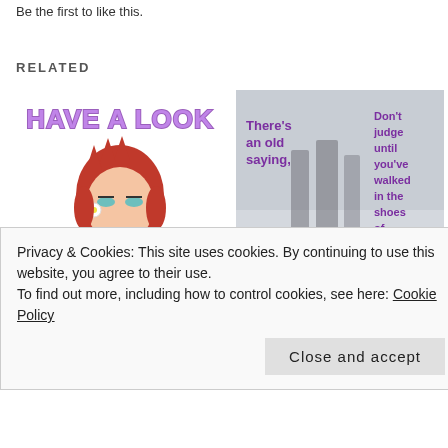Be the first to like this.
RELATED
[Figure (illustration): Cartoon image with text 'HAVE A LOOK' in purple bubble letters and an anime-style girl with red hair]
Let's Have A Look – Our Medical System During Covid #Health and #Wellness
March 9, 2021
[Figure (photo): Snowy winter scene with purple text: 'There's an old saying,' and 'Don't judge until you've walked in the shoes of others']
#Health #Caregiving – And working with the #Medical System
April 13, 2016
In "Health and wellness"
Privacy & Cookies: This site uses cookies. By continuing to use this website, you agree to their use. To find out more, including how to control cookies, see here: Cookie Policy